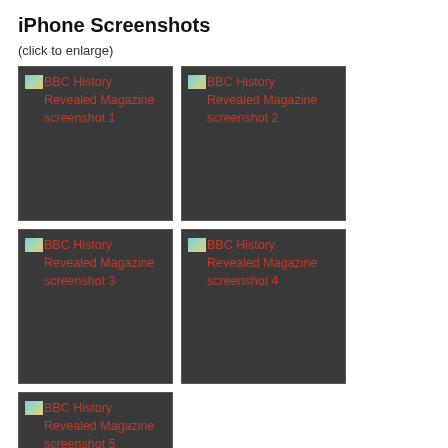iPhone Screenshots
(click to enlarge)
[Figure (screenshot): BBC History Revealed Magazine screenshot 1 — broken image placeholder on dark background]
[Figure (screenshot): BBC History Revealed Magazine screenshot 2 — broken image placeholder on dark background]
[Figure (screenshot): BBC History Revealed Magazine screenshot 3 — broken image placeholder on dark background]
[Figure (screenshot): BBC History Revealed Magazine screenshot 4 — broken image placeholder on dark background]
[Figure (screenshot): BBC History Revealed Magazine screenshot 5 — broken image placeholder on dark background]